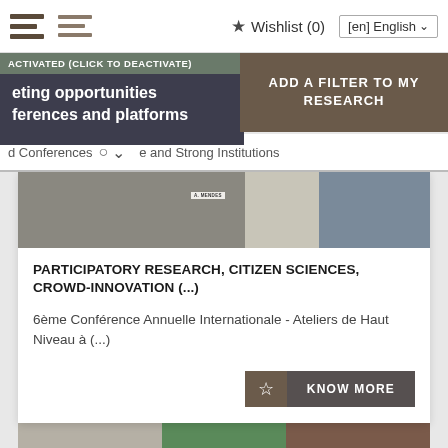Wishlist (0) [en] English
ACTIVATED (CLICK TO DEACTIVATE)
ADD A FILTER TO MY RESEARCH
eting opportunities
ferences and platforms
d Conferences   and Strong Institutions
[Figure (photo): Crowd of people at a conference table, with a name badge reading 'A. MENDES' visible]
PARTICIPATORY RESEARCH, CITIZEN SCIENCES, CROWD-INNOVATION (...)
6ème Conférence Annuelle Internationale - Ateliers de Haut Niveau à (...)
KNOW MORE
[Figure (photo): Partial view of another conference or event photo at the bottom of the page]